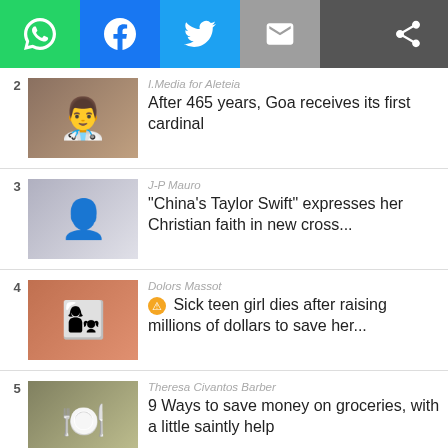[Figure (infographic): Social media share bar with WhatsApp, Facebook, Twitter, Email buttons and a share icon]
2 | I.Media for Aleteia | After 465 years, Goa receives its first cardinal
3 | J-P Mauro | “China’s Taylor Swift” expresses her Christian faith in new cross...
4 | Dolors Massot | Sick teen girl dies after raising millions of dollars to save her...
5 | Theresa Civantos Barber | 9 Ways to save money on groceries, with a little saintly help
6 | Cerith Gardiner | Watch these 3 very different musicians stun crowds...